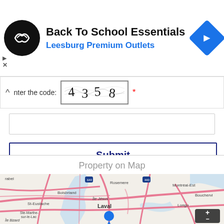[Figure (other): Advertisement banner: Back To School Essentials at Leesburg Premium Outlets with logo and navigation icon]
nter the code: [CAPTCHA image showing 4356] *
[Figure (other): CAPTCHA submission form with text input and Submit button]
Property on Map
[Figure (map): OpenStreetMap showing Montreal area including Laval, Boisbriand, Rosemere, St-Eustache, Ste-Marthe-sur-le-Lac, Ile Bizard, Dollard-des-Ormeaux, Montreal-Est, Boucherville, Longueuil areas with a blue location pin on Ile de Montreal]